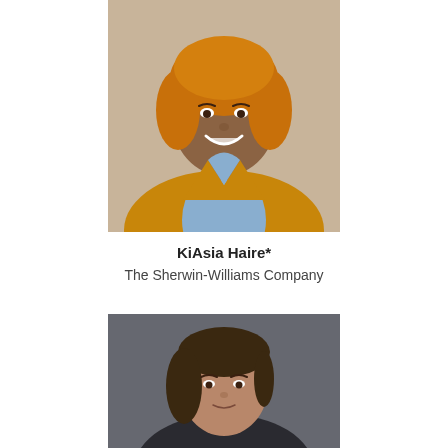[Figure (photo): Headshot of KiAsia Haire, a woman with orange/golden hair, wearing a yellow blazer over a light blue shirt, smiling, with a warm beige background.]
KiAsia Haire*
The Sherwin-Williams Company
[Figure (photo): Headshot of a woman with long dark brown hair, wearing a dark outfit, against a dark gray background, looking directly at the camera.]